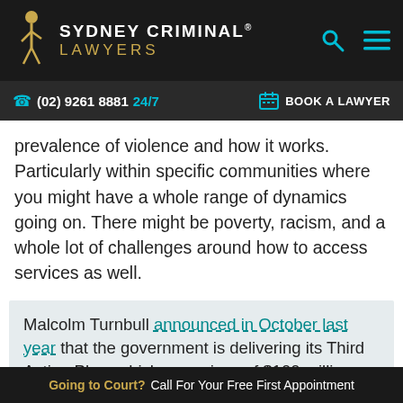SYDNEY CRIMINAL® LAWYERS
(02) 9261 8881 24/7   BOOK A LAWYER
prevalence of violence and how it works. Particularly within specific communities where you might have a whole range of dynamics going on. There might be poverty, racism, and a whole lot of challenges around how to access services as well.
Malcolm Turnbull announced in October last year that the government is delivering its Third Action Plan, which comprises of $100 million dollars' worth of funding for various domestic and family violence programs.
Going to Court? Call For Your Free First Appointment